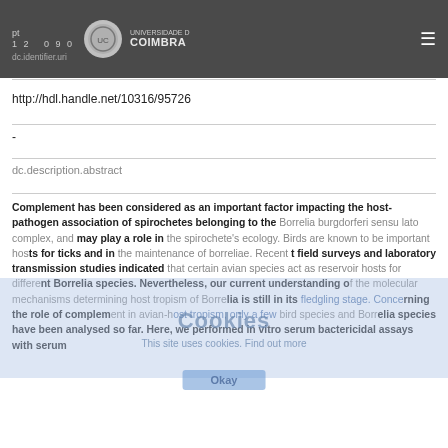pt 1290 UNIVERSIDADE D COIMBRA dc.identifier.uri
http://hdl.handle.net/10316/95726
-
dc.description.abstract
Complement has been considered as an important factor impacting the host-pathogen association of spirochetes belonging to the Borrelia burgdorferi sensu lato complex, and may play a role in the spirochete's ecology. Birds are known to be important hosts for ticks and in the maintenance of borreliae. Recent field surveys and laboratory transmission studies indicated that certain avian species act as reservoir hosts for different Borrelia species. Nevertheless, our current understanding of the molecular mechanisms determining host tropism of Borrelia is still in its fledgling stage. Concerning the role of complement in avian-host tropism, only a few bird species and Borrelia species have been analysed so far. Here, we performed in vitro serum bactericidal assays with serum